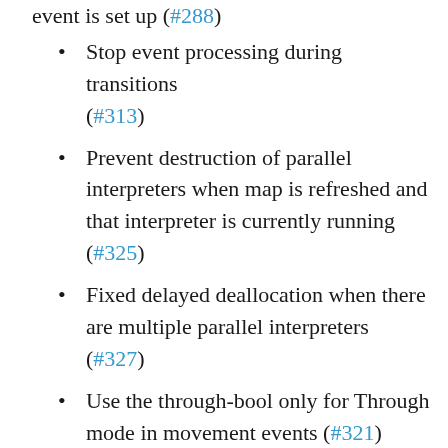Stop event processing during transitions (#313)
Prevent destruction of parallel interpreters when map is refreshed and that interpreter is currently running (#325)
Fixed delayed deallocation when there are multiple parallel interpreters (#327)
Use the through-bool only for Through mode in movement events (#321)
Implemented transparent flag for Events (#302)
Implemented bush depth for character sprites and fix screen center (#326, #361)
Fixes to menu related issues: